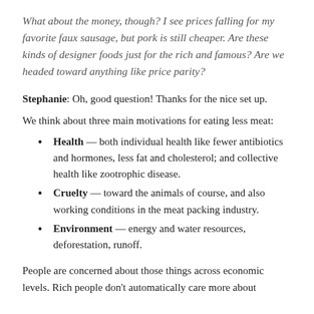What about the money, though? I see prices falling for my favorite faux sausage, but pork is still cheaper. Are these kinds of designer foods just for the rich and famous? Are we headed toward anything like price parity?
Stephanie: Oh, good question! Thanks for the nice set up.
We think about three main motivations for eating less meat:
Health — both individual health like fewer antibiotics and hormones, less fat and cholesterol; and collective health like zootrophic disease.
Cruelty — toward the animals of course, and also working conditions in the meat packing industry.
Environment — energy and water resources, deforestation, runoff.
People are concerned about those things across economic levels. Rich people don't automatically care more about...